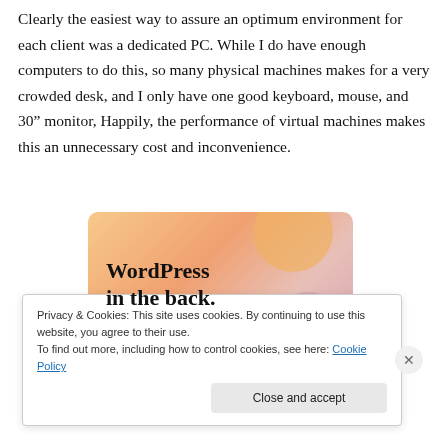Clearly the easiest way to assure an optimum environment for each client was a dedicated PC. While I do have enough computers to do this, so many physical machines makes for a very crowded desk, and I only have one good keyboard, mouse, and 30" monitor, Happily, the performance of virtual machines makes this an unnecessary cost and inconvenience.
[Figure (illustration): WordPress promotional image with text 'WordPress in the back.' on a warm orange/pink gradient background with decorative blobs]
Privacy & Cookies: This site uses cookies. By continuing to use this website, you agree to their use.
To find out more, including how to control cookies, see here: Cookie Policy